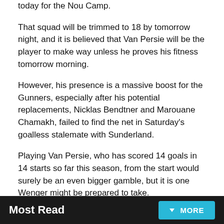today for the Nou Camp.
That squad will be trimmed to 18 by tomorrow night, and it is believed that Van Persie will be the player to make way unless he proves his fitness tomorrow morning.
However, his presence is a massive boost for the Gunners, especially after his potential replacements, Nicklas Bendtner and Marouane Chamakh, failed to find the net in Saturday's goalless stalemate with Sunderland.
Playing Van Persie, who has scored 14 goals in 14 starts so far this season, from the start would surely be an even bigger gamble, but it is one Wenger might be prepared to take.
Most Read   MORE